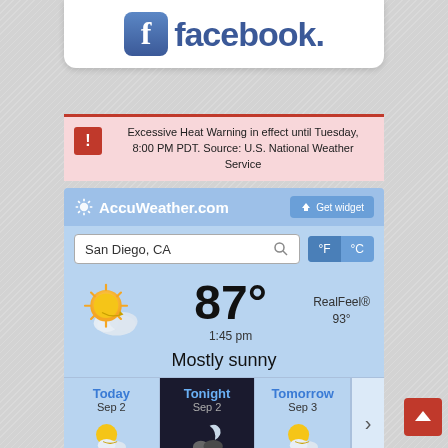[Figure (logo): Facebook logo with blue 'f' icon and 'facebook.' text]
Excessive Heat Warning in effect until Tuesday, 8:00 PM PDT. Source: U.S. National Weather Service
[Figure (screenshot): AccuWeather.com widget showing San Diego, CA weather: 87°, RealFeel 93°, 1:45 pm, Mostly sunny. Forecast for Today Sep 2, Tonight Sep 2, Tomorrow Sep 3.]